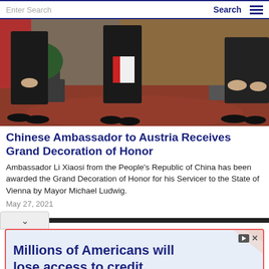Enter Search | Search
[Figure (photo): Three men in dark suits standing indoors with plants and red decor in background; center person holds a red and white document or certificate]
Chinese Ambassador to Austria Receives Grand Decoration of Honor
Ambassador Li Xiaosi from the People's Republic of China has been awarded the Grand Decoration of Honor for his Servicer to the State of Vienna by Mayor Michael Ludwig.
May 27, 2021
[Figure (screenshot): Advertisement banner: 'Millions of Americans will lose access to credit.']